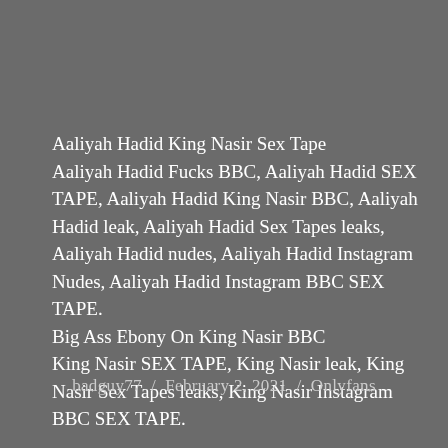Aaliyah Hadid King Nasir Sex Tape Aaliyah Hadid Fucks BBC, Aaliyah Hadid SEX TAPE, Aaliyah Hadid King Nasir BBC, Aaliyah Hadid leak, Aaliyah Hadid Sex Tapes leaks, Aaliyah Hadid nudes, Aaliyah Hadid Instagram Nudes, Aaliyah Hadid Instagram BBC SEX TAPE. Big Ass Ebony On King Nasir BBC King Nasir SEX TAPE, King Nasir leak, King Nasir Sex Tapes leaks, King Nasir Instagram BBC SEX TAPE.
badguy77 / February 2, 2021 / Onlyfans